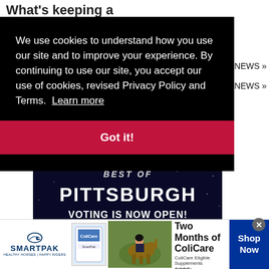What's keeping a
NEWS »
NEWS »
We use cookies to understand how you use our site and to improve your experience. By continuing to use our site, you accept our use of cookies, revised Privacy Policy and Terms.  Learn more
Got it!
[Figure (photo): Best of Pittsburgh banner with text 'PITTSBURGH VOTING IS NOW OPEN! Help your Favorites' on a dark starry background]
[Figure (photo): SmartPak advertisement: 50% Off Two Months of ColiCare, ColiCare Eligible Supplements, CODE: COLICARE10. Shows SmartPak logo, product image, horse and rider photo, and Shop Now button.]